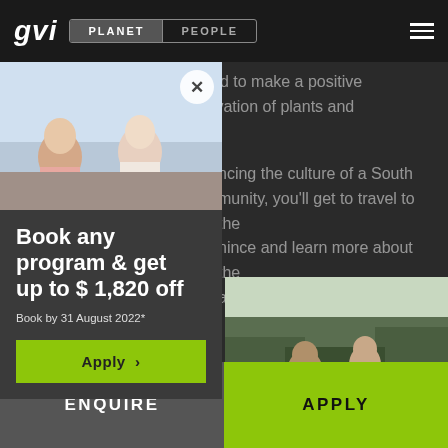gvi | PLANET | PEOPLE
with the knowledge they need to make a positive contribution to the conservation of plants and
ncing the culture of a South munity, you'll get to travel to the nince and learn more about the all this country home.
[Figure (photo): Photo of two people sitting outdoors, with a close-up popup card overlay showing a promotional offer]
Book any program & get up to $ 1,820 off
Book by 31 August 2022*
Apply >
[Figure (photo): Photo of people outdoors with trees in background]
ENQUIRE
APPLY